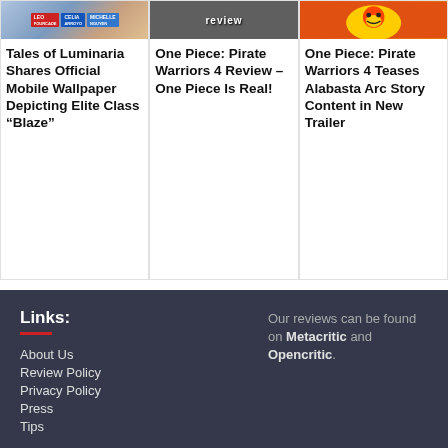[Figure (screenshot): Thumbnail image for Tales of Luminaria article showing character name labels Leo, Celia, Michelle]
Tales of Luminaria Shares Official Mobile Wallpaper Depicting Elite Class “Blaze”
[Figure (screenshot): Thumbnail image for One Piece Pirate Warriors 4 review with text 'review']
One Piece: Pirate Warriors 4 Review – One Piece Is Real!
[Figure (screenshot): Thumbnail image for One Piece Pirate Warriors 4 Alabasta article showing cartoon character]
One Piece: Pirate Warriors 4 Teases Alabasta Arc Story Content in New Trailer
Links:
About Us
Review Policy
Privacy Policy
Press
Tips
Our reviews can be found on Metacritic and Opencritic.